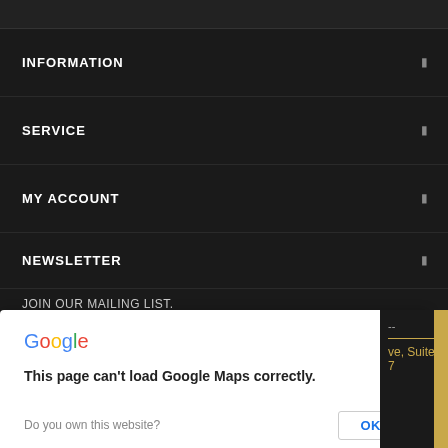INFORMATION
SERVICE
MY ACCOUNT
NEWSLETTER
JOIN OUR MAILING LIST.
Enter your e-mail
[Figure (screenshot): Google Maps error dialog: 'This page can't load Google Maps correctly.' with 'Do you own this website?' and OK button]
ve, Suite 7